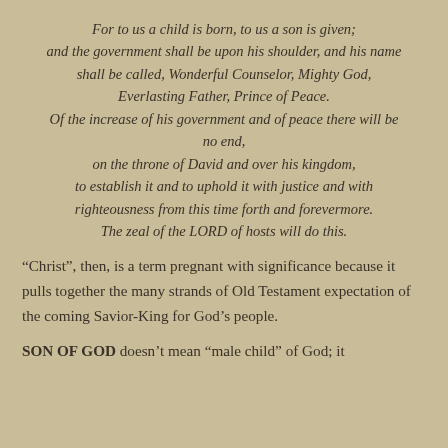For to us a child is born, to us a son is given; and the government shall be upon his shoulder, and his name shall be called, Wonderful Counselor, Mighty God, Everlasting Father, Prince of Peace. Of the increase of his government and of peace there will be no end, on the throne of David and over his kingdom, to establish it and to uphold it with justice and with righteousness from this time forth and forevermore. The zeal of the LORD of hosts will do this.
“Christ”, then, is a term pregnant with significance because it pulls together the many strands of Old Testament expectation of the coming Savior-King for God’s people.
SON OF GOD doesn’t mean “male child” of God; it